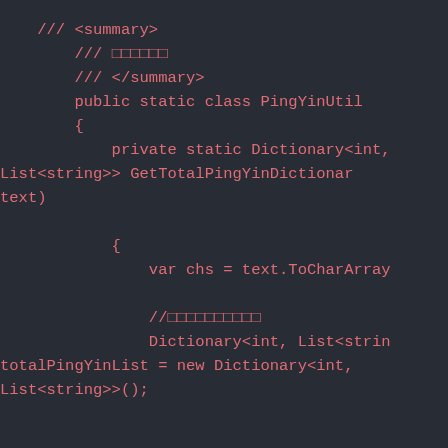/// <summary>
    /// 获取拼音
    /// </summary>
    public static class PingYinUtil
    {
        private static Dictionary<int, List<string>> GetTotalPingYinDictionary(string text)
        {
            var chs = text.ToCharArray

            //获取拼音列表
            Dictionary<int, List<strin
 totalPingYinList = new Dictionary<int, List<string>>();


            for (int i = 0; i < chs.Le